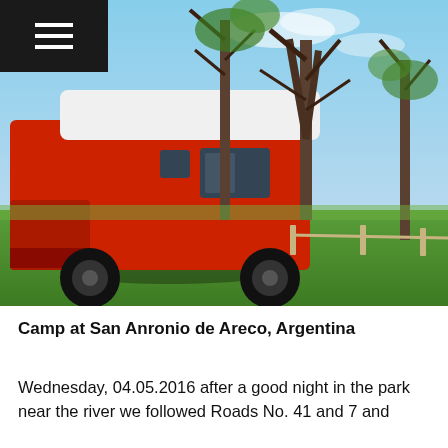≡
[Figure (photo): Red camper van parked on green grass in a tree-lined park. The van has a white roof and is viewed from the front-left side. Trees with bare and green branches are visible in the background under a blue sky with light clouds.]
Camp at San Anronio de Areco, Argentina
Wednesday, 04.05.2016 after a good night in the park near the river we followed Roads No. 41 and 7 and reached trip over the tongue in the countryside ...